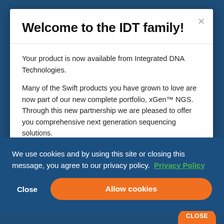Welcome to the IDT family!
Your product is now available from Integrated DNA Technologies.
Many of the Swift products you have grown to love are now part of our new complete portfolio, xGen™ NGS. Through this new partnership we are pleased to offer you comprehensive next generation sequencing solutions.
We use cookies and by using this site or closing this message, you agree to our privacy policy.  Privacy Policy
Close
Allow cookies
CLOSE